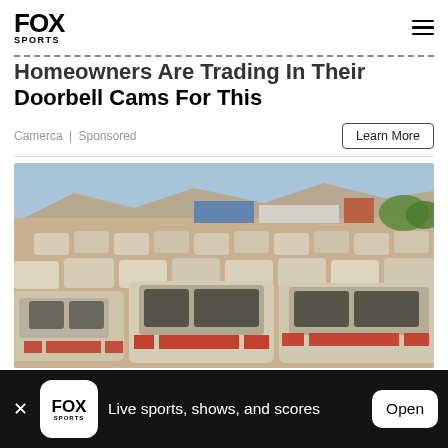FOX SPORTS
Homeowners Are Trading In Their Doorbell Cams For This
Camerca | Sponsored
[Figure (photo): Large outdoor lot filled with rows of white/cream colored cars parked in a sandy desert-like area, viewed from rear angle, with mountains and industrial buildings in the background.]
Live sports, shows, and scores